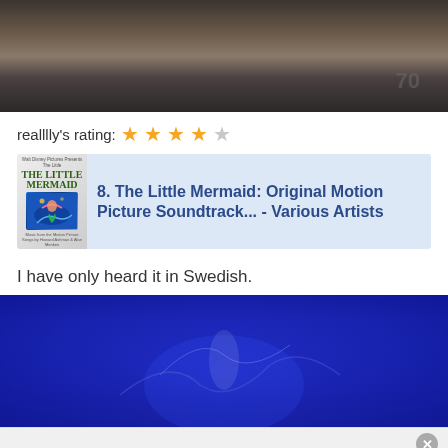[Figure (photo): People dancing on a stage/dance floor, viewed from waist down, with number 70 visible on the floor]
realllly's rating: ★★★★☆
[Figure (other): The Little Mermaid album cover thumbnail]
8. The Little Mermaid: Original Motion Picture Soundtrack... - Various Artists
I have only heard it in Swedish.
[Figure (photo): Blue underwater scene from The Little Mermaid animation]
[Figure (photo): Advertisement banner at bottom with close X button]